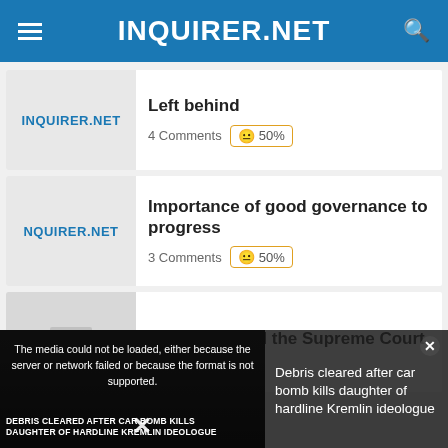INQUIRER.NET
Left behind
4 Comments  😐 50%
Importance of good governance to progress
3 Comments  😐 50%
FVR respected the Supreme Court
The media could not be loaded, either because the server or network failed or because the format is not supported.
Debris cleared after car bomb kills daughter of hardline Kremlin ideologue